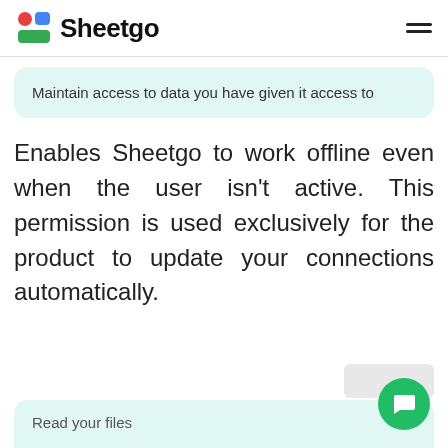Sheetgo
Maintain access to data you have given it access to
Enables Sheetgo to work offline even when the user isn't active. This permission is used exclusively for the product to update your connections automatically.
Read your files